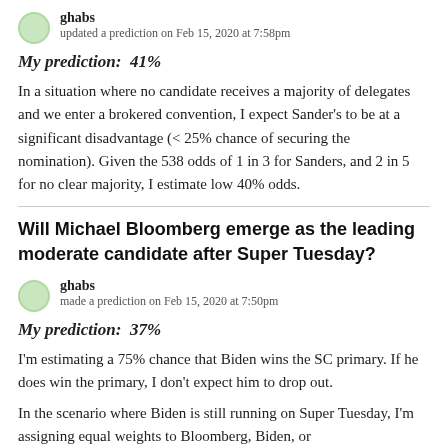ghabs
updated a prediction on Feb 15, 2020 at 7:58pm
My prediction:  41%
In a situation where no candidate receives a majority of delegates and we enter a brokered convention, I expect Sander's to be at a significant disadvantage (< 25% chance of securing the nomination). Given the 538 odds of 1 in 3 for Sanders, and 2 in 5 for no clear majority, I estimate low 40% odds.
Will Michael Bloomberg emerge as the leading moderate candidate after Super Tuesday?
ghabs
made a prediction on Feb 15, 2020 at 7:50pm
My prediction:  37%
I'm estimating a 75% chance that Biden wins the SC primary. If he does win the primary, I don't expect him to drop out.
In the scenario where Biden is still running on Super Tuesday, I'm assigning equal weights to Bloomberg, Biden, or